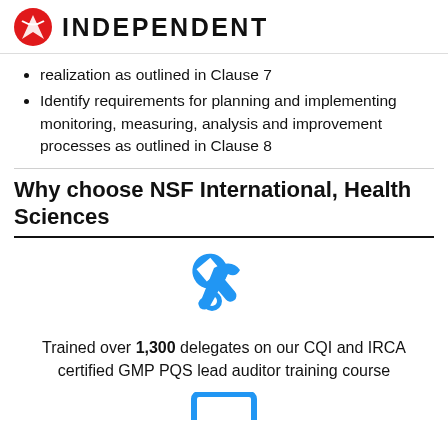INDEPENDENT
realization as outlined in Clause 7
Identify requirements for planning and implementing monitoring, measuring, analysis and improvement processes as outlined in Clause 8
Why choose NSF International, Health Sciences
[Figure (illustration): Blue wrench/spanner icon]
Trained over 1,300 delegates on our CQI and IRCA certified GMP PQS lead auditor training course
[Figure (illustration): Blue monitor/screen icon (partially visible at bottom)]